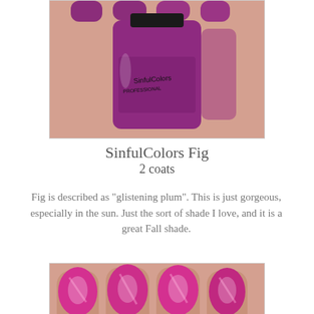[Figure (photo): A purple/plum nail polish bottle from SinfulColors brand held by a hand with painted nails, showing the bottle label and painted nails above]
SinfulColors Fig
2 coats
Fig is described as "glistening plum". This is just gorgeous, especially in the sun. Just the sort of shade I love, and it is a great Fall shade.
[Figure (photo): Close-up of a hand with bright metallic pink/magenta nail polish applied on the nails]